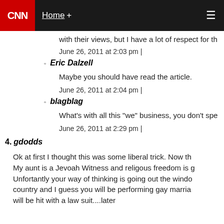CNN | Home + ☰
with their views, but I have a lot of respect for th
June 26, 2011 at 2:03 pm |
Eric Dalzell
Maybe you should have read the article.
June 26, 2011 at 2:04 pm |
blagblag
What's with all this "we" business, you don't spe
June 26, 2011 at 2:29 pm |
4. gdodds
Ok at first I thought this was some liberal trick. Now th My aunt is a Jevoah Witness and religous freedom is g Unfortantly your way of thinking is going out the windo country and I guess you will be performing gay marria will be hit with a law suit....later